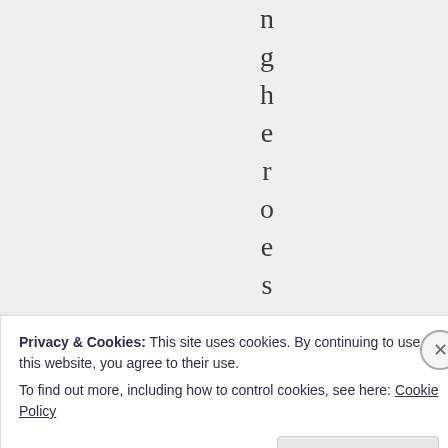n g h e r o e s a n d
Privacy & Cookies: This site uses cookies. By continuing to use this website, you agree to their use.
To find out more, including how to control cookies, see here: Cookie Policy
Close and accept